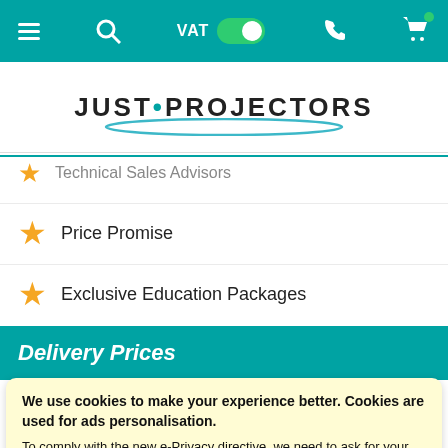Navigation bar with menu, search, VAT toggle, phone, and cart icons
[Figure (logo): JUST·PROJECTORS logo with teal ellipse underline]
Technical Sales Advisors
Price Promise
Exclusive Education Packages
Delivery Prices
We use cookies to make your experience better. Cookies are used for ads personalisation.
To comply with the new e-Privacy directive, we need to ask for your consent to set the cookies. Learn more.
ALLOW COOKIES